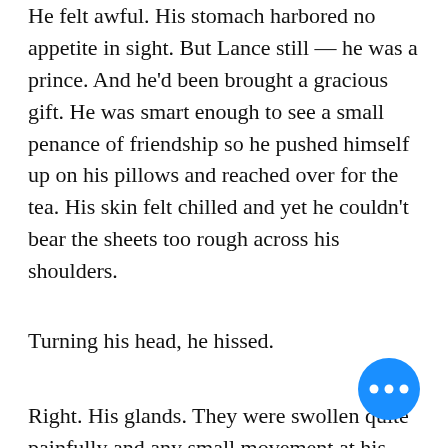He felt awful. His stomach harbored no appetite in sight. But Lance still — he was a prince. And he'd been brought a gracious gift. He was smart enough to see a small penance of friendship so he pushed himself up on his pillows and reached over for the tea. His skin felt chilled and yet he couldn't bear the sheets too rough across his shoulders.
Turning his head, he hissed.
Right. His glands. They were swollen quite painfully and any small movement at his head had the red inflamed primary glands at his jaw line pulsing with pain.
"Here," Pidge seemed to rush forward